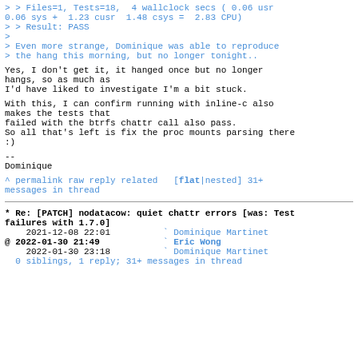> > Files=1, Tests=18,  4 wallclock secs ( 0.06 usr
0.06 sys +  1.23 cusr  1.48 csys =  2.83 CPU)
> > Result: PASS
>
> Even more strange, Dominique was able to reproduce
> the hang this morning, but no longer tonight..
Yes, I don't get it, it hanged once but no longer hangs, so as much as
I'd have liked to investigate I'm a bit stuck.
With this, I can confirm running with inline-c also makes the tests that
failed with the btrfs chattr call also pass.
So all that's left is fix the proc mounts parsing there
:)
--
Dominique
^ permalink raw reply related   [flat|nested] 31+ messages in thread
* Re: [PATCH] nodatacow: quiet chattr errors [was: Test failures with 1.7.0]
    2021-12-08 22:01          ` Dominique Martinet
@ 2022-01-30 21:49            ` Eric Wong
    2022-01-30 23:18          ` Dominique Martinet
  0 siblings, 1 reply; 31+ messages in thread